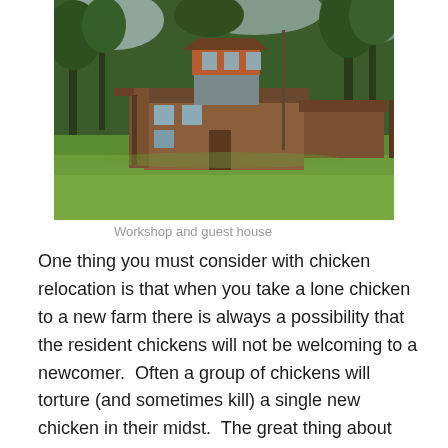[Figure (photo): Photograph of a workshop and guest house building with a large green lawn in the foreground, surrounded by tall trees. The building has an orange/rust colored upper section and a covered porch area extending to the right.]
Workshop and guest house
One thing you must consider with chicken relocation is that when you take a lone chicken to a new farm there is always a possibility that the resident chickens will not be welcoming to a newcomer.  Often a group of chickens will torture (and sometimes kill) a single new chicken in their midst.  The great thing about bringing her to GT's is that he currently has no adult chickens on his farm.  As I was driving in, I saw a mamma turkey and several babies